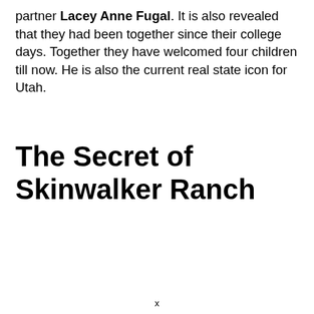partner Lacey Anne Fugal. It is also revealed that they had been together since their college days. Together they have welcomed four children till now. He is also the current real state icon for Utah.
The Secret of Skinwalker Ranch
x